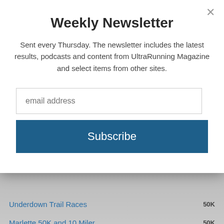Weekly Newsletter
Sent every Thursday. The newsletter includes the latest results, podcasts and content from UltraRunning Magazine and select items from other sites.
Underdown Trail Races — 50K
Marlette 50K and 10 Miler — 50K
The Nifty Fifty — 50K
Resort to Rock — 50K
Sweltering Summer Ultra and Marathon — 8H
DURTY B-FE-RR-UN 6hr St. Pete Fat Ass — 6H